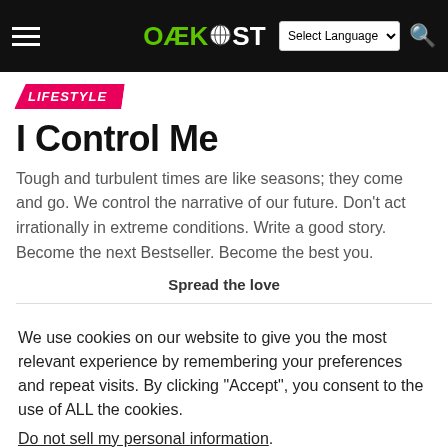OaekPost — navigation header with hamburger menu, logo, language selector, and search icon
LIFESTYLE
I Control Me
Tough and turbulent times are like seasons; they come and go. We control the narrative of our future. Don't act irrationally in extreme conditions. Write a good story. Become the next Bestseller. Become the best you.
Spread the love
We use cookies on our website to give you the most relevant experience by remembering your preferences and repeat visits. By clicking “Accept”, you consent to the use of ALL the cookies.
Do not sell my personal information.